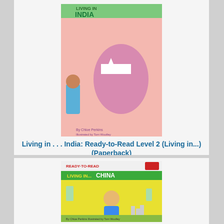[Figure (illustration): Book cover of 'Living in India' Ready-to-Read Level 2 showing a child, map of India, and colorful illustrations]
Living in . . . India: Ready-to-Read Level 2 (Living in...) (Paperback)
By Chloe Perkins, Tom Woolley (Illustrator)
$3.99
Add to Cart
Add to Wish List
On Our Shelves Now
[Figure (illustration): Book cover of 'Living in China' Ready-to-Read series showing a child and colorful illustrations with yellow background]